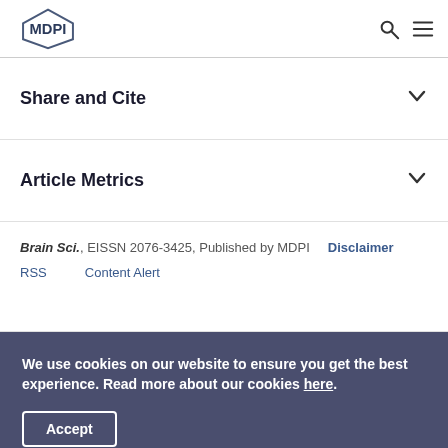MDPI
Share and Cite
Article Metrics
Brain Sci., EISSN 2076-3425, Published by MDPI   Disclaimer   RSS   Content Alert
We use cookies on our website to ensure you get the best experience. Read more about our cookies here.